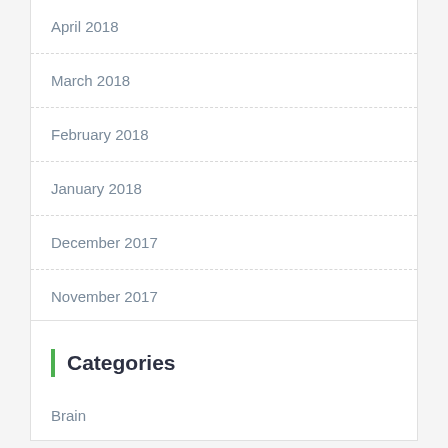April 2018
March 2018
February 2018
January 2018
December 2017
November 2017
Categories
Brain